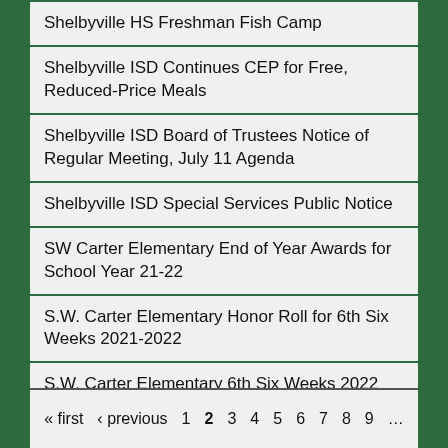Shelbyville HS Freshman Fish Camp
Shelbyville ISD Continues CEP for Free, Reduced-Price Meals
Shelbyville ISD Board of Trustees Notice of Regular Meeting, July 11 Agenda
Shelbyville ISD Special Services Public Notice
SW Carter Elementary End of Year Awards for School Year 21-22
S.W. Carter Elementary Honor Roll for 6th Six Weeks 2021-2022
S.W. Carter Elementary 6th Six Weeks 2022 Perfect Attendance
Shelbyville ISD Service Awards for 2021-2022
« first ‹ previous 1 2 3 4 5 6 7 8 9 ...